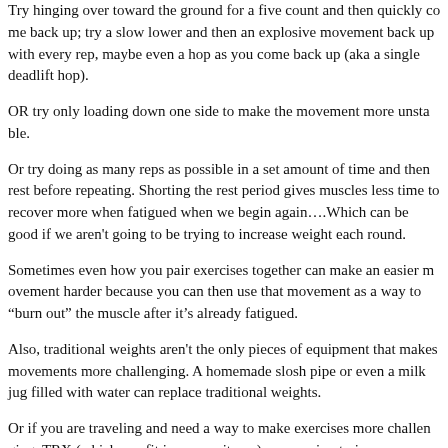Try hinging over toward the ground for a five count and then quickly come back up; try a slow lower and then an explosive movement back up with every rep, maybe even a hop as you come back up (aka a single deadlift hop).
OR try only loading down one side to make the movement more unstable.
Or try doing as many reps as possible in a set amount of time and then rest before repeating. Shorting the rest period gives muscles less time to recover meaning they are more fatigued when we begin again....Which can be good if we aren't going heavier and instead trying to increase weight each round.
Sometimes even how you pair exercises together can make an easier movement harder because you can then use that movement as a way to "burn out" the muscle after it's already fatigued.
Also, traditional weights aren't the only pieces of equipment that make movements more challenging. A homemade slosh pipe or even a milk jug filled with water can replace traditional weights.
Or if you are traveling and need a way to make exercises more challenging, TRX (which can fit in your suitcase), suspension trainers, resistance bands, mini bands, and sliders/towels/valslides are all easy transportable pieces of equipment that make exercises more challenging.